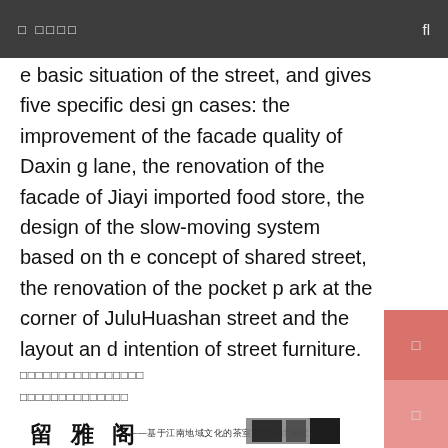□ □□□□   fl
e basic situation of the street, and gives five specific design cases: the improvement of the facade quality of Daxing lane, the renovation of the facade of Jiayi imported food store, the design of the slow-moving system based on the concept of shared street, the renovation of the pocket park at the corner of JuluHuashan street and the layout and intention of street furniture.
□□□□□□□□□□□□□□□□
□□□□□□□□□□□□□□
[Figure (other): Chinese book cover image with title characters and subtitle text, partially visible with dark smear/bar at right]